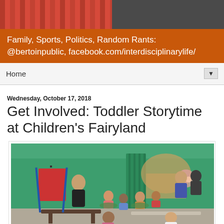[Figure (photo): Top banner with two photos side by side: left shows red/striped fabric or clothing, right shows a person in dark clothing]
Family, Sports, Politics, Random Rants: @bertoinpublic, facebook.com/interdisciplinarylife/
Home ▼
Wednesday, October 17, 2018
Get Involved: Toddler Storytime at Children's Fairyland
[Figure (photo): Children sitting on mats outdoors at Children's Fairyland during storytime; a woman crouches near an easel/board on the left, toddlers sit in a semicircle, parents/adults visible in background; green painted walls and gate visible behind them; benches in foreground]